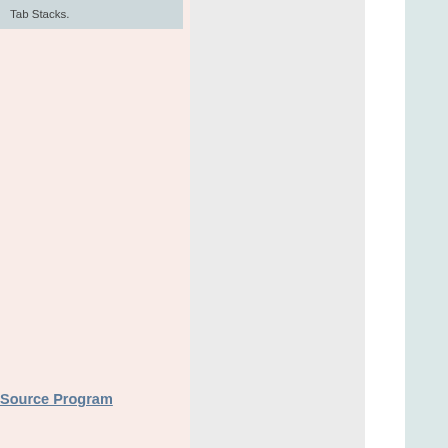Tab Stacks.
Source Program
a software ay's world ne preferred . However, w how to source ck of any ot only ll so exposes ny risks, Source ls with